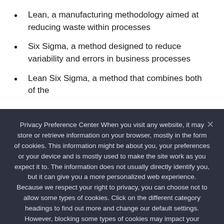Lean, a manufacturing methodology aimed at reducing waste within processes
Six Sigma, a method designed to reduce variability and errors in business processes
Lean Six Sigma, a method that combines both of the
Privacy Preference Center When you visit any website, it may store or retrieve information on your browser, mostly in the form of cookies. This information might be about you, your preferences or your device and is mostly used to make the site work as you expect it to. The information does not usually directly identify you, but it can give you a more personalized web experience. Because we respect your right to privacy, you can choose not to allow some types of cookies. Click on the different category headings to find out more and change our default settings. However, blocking some types of cookies may impact your experience of the site and the services we are able to offer.
Ok   Privacy policy